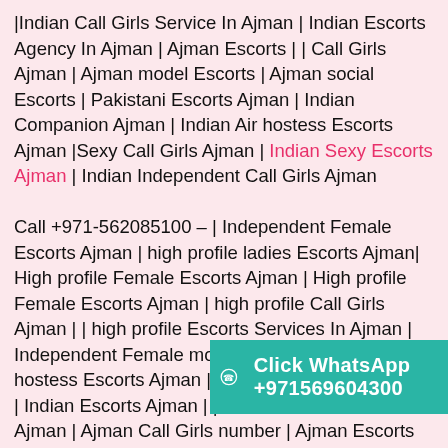|Indian Call Girls Service In Ajman | Indian Escorts Agency In Ajman | Ajman Escorts | | Call Girls Ajman | Ajman model Escorts | Ajman social Escorts | Pakistani Escorts Ajman | Indian Companion Ajman | Indian Air hostess Escorts Ajman |Sexy Call Girls Ajman | Indian Sexy Escorts Ajman | Indian Independent Call Girls Ajman

Call +971-562085100 – | Independent Female Escorts Ajman | high profile ladies Escorts Ajman| High profile Female Escorts Ajman | High profile Female Escorts Ajman | high profile Call Girls Ajman | | high profile Escorts Services In Ajman | Independent Female model Ajman | Pakistani air hostess Escorts Ajman | Housewife Escorts Ajman | Indian Escorts Ajman | | Indian Escorts Service Ajman | Ajman Call Girls number | Ajman Escorts number | | Ajman Female Escorts number | Ajman companions number | Ajman Escorts contact number | Ajman Escorts mobile number | Ajman night club | Ajman call Girl | Call Girl Ajman |
[Figure (infographic): WhatsApp call-to-action bar with teal background: circle icon with phone symbol, text 'Click WhatsApp +971569604300']